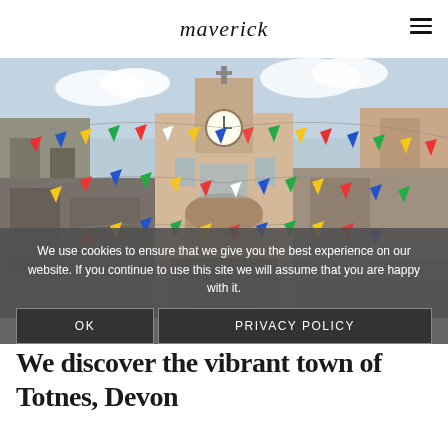maverick
[Figure (photo): A colourful street scene in Totnes, Devon, showing a historic clock tower guild hall building with bunting flags strung across the street in red, blue, yellow, and green colours.]
We use cookies to ensure that we give you the best experience on our website. If you continue to use this site we will assume that you are happy with it.
OK    PRIVACY POLICY
We discover the vibrant town of Totnes, Devon